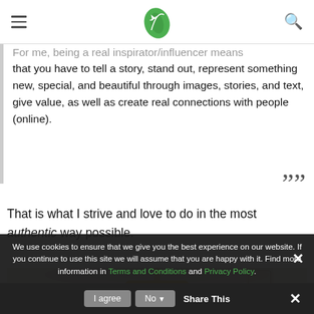[Navigation header with menu icon, leaf/plane logo, search icon]
For me, being a real inspirator/influencer means that you have to tell a story, stand out, represent something new, special, and beautiful through images, stories, and text, give value, as well as create real connections with people (online). ””
That is what I strive and love to do in the most authentic way possible.
[Figure (photo): Photo of an ornate chandelier with gold/amber beading hanging from a decorative white ceiling]
We use cookies to ensure that we give you the best experience on our website. If you continue to use this site we will assume that you are happy with it. Find more information in Terms and Conditions and Privacy Policy.
I agree    No    Share This